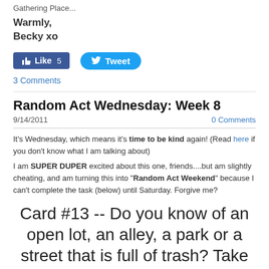Gathering Place...
Warmly,
Becky xo
[Figure (other): Facebook Like button showing count 5 and Twitter Tweet button]
3 Comments
Random Act Wednesday: Week 8
9/14/2011
0 Comments
It's Wednesday, which means it's time to be kind again! (Read here if you don't know what I am talking about)
I am SUPER DUPER excited about this one, friends....but am slightly cheating, and am turning this into "Random Act Weekend" because I can't complete the task (below) until Saturday. Forgive me?
Card #13 -- Do you know of an open lot, an alley, a park or a street that is full of trash? Take a garbage bag, go clean it up.